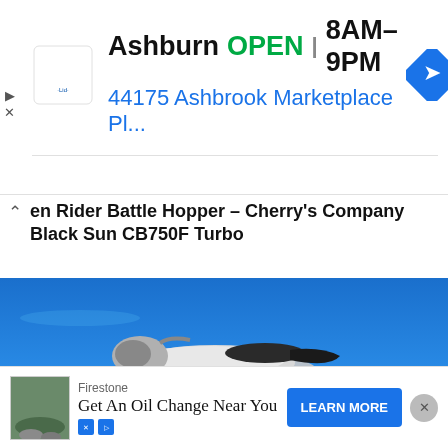[Figure (screenshot): Advertisement banner for Lidl store in Ashburn showing store is OPEN 8AM-9PM with address 44175 Ashbrook Marketplace Pl... and a navigation arrow icon]
en Rider Battle Hopper – Cherry's Company Black Sun CB750F Turbo
[Figure (photo): Custom motorcycle - Cherry's Company Black Sun CB750F Turbo with polished chrome tank, yellow/gold forks, against a blue sky background]
[Figure (screenshot): Advertisement for Firestone: Get An Oil Change Near You with a LEARN MORE button]